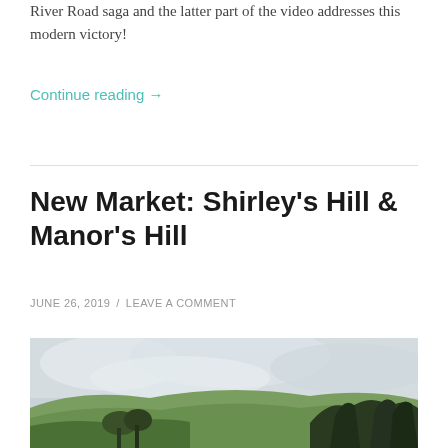River Road saga and the latter part of the video addresses this modern victory!
Continue reading →
New Market: Shirley's Hill & Manor's Hill
JUNE 26, 2019 / LEAVE A COMMENT
[Figure (photo): Outdoor landscape photo showing rolling green hills with trees in the foreground against an overcast sky]